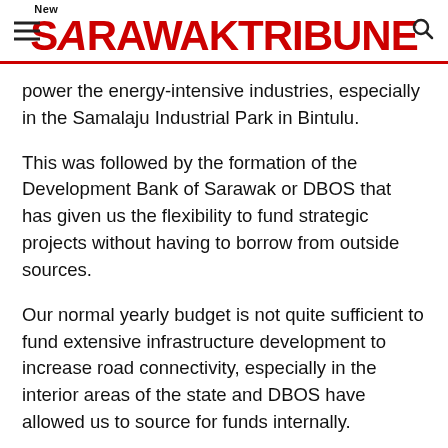New Sarawak Tribune
power the energy-intensive industries, especially in the Samalaju Industrial Park in Bintulu.
This was followed by the formation of the Development Bank of Sarawak or DBOS that has given us the flexibility to fund strategic projects without having to borrow from outside sources.
Our normal yearly budget is not quite sufficient to fund extensive infrastructure development to increase road connectivity, especially in the interior areas of the state and DBOS have allowed us to source for funds internally.
The extensive plan of infrastructure development in the...